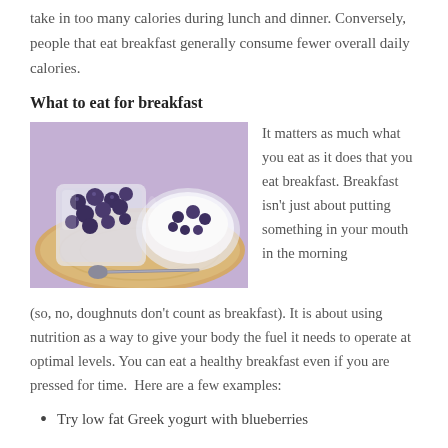take in too many calories during lunch and dinner. Conversely, people that eat breakfast generally consume fewer overall daily calories.
What to eat for breakfast
[Figure (photo): A photo of two glass bowls on a wooden cutting board — one filled with blueberries and one with yogurt topped with blueberries — alongside a spoon, on a purple fabric background.]
It matters as much what you eat as it does that you eat breakfast. Breakfast isn't just about putting something in your mouth in the morning (so, no, doughnuts don't count as breakfast). It is about using nutrition as a way to give your body the fuel it needs to operate at optimal levels. You can eat a healthy breakfast even if you are pressed for time.  Here are a few examples:
Try low fat Greek yogurt with blueberries